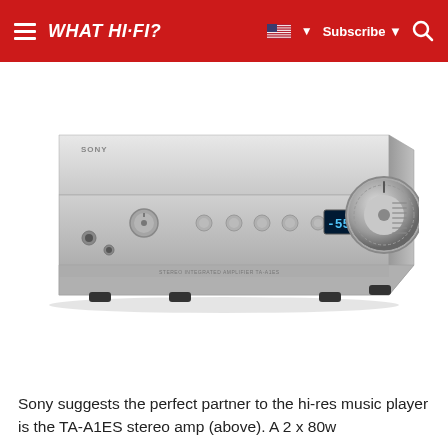WHAT HI-FI?  Subscribe
[Figure (photo): Sony TA-A1ES stereo amplifier, silver finish, front view showing volume knob, display reading -55, input selector and control buttons, headphone jack]
Sony suggests the perfect partner to the hi-res music player is the TA-A1ES stereo amp (above). A 2 x 80w